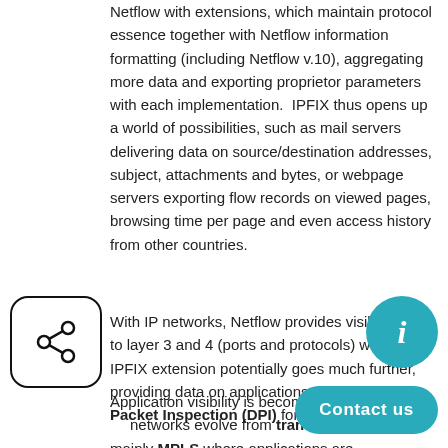Netflow with extensions, which maintain protocol essence together with Netflow information formatting (including Netflow v.10), aggregating more data and exporting proprietor parameters with each implementation.  IPFIX thus opens up a world of possibilities, such as mail servers delivering data on source/destination addresses, subject, attachments and bytes, or webpage servers exporting flow records on viewed pages, browsing time per page and even access history from other countries.
[Figure (illustration): Share icon inside a rounded square border]
With IP networks, Netflow provides visibility up to layer 3 and 4 (ports and protocols) while IPFIX extension potentially goes much further, providing data on applications through Deep Packet Inspection (DPI) for example.
Application visibility is becoming more prevalent as networks evolve from transport based and mainly MPLS where applications are interlocked, to
[Figure (illustration): Teal info circle button]
[Figure (illustration): Teal Contact us button]